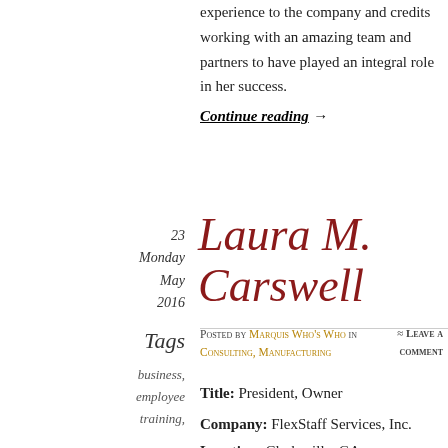experience to the company and credits working with an amazing team and partners to have played an integral role in her success.
Continue reading →
23 Monday May 2016
Laura M. Carswell
Posted by Marquis Who's Who in Consulting, Manufacturing ≈ Leave a comment
Title: President, Owner
Tags
business, employee training,
Company: FlexStaff Services, Inc.
Location: Clarksville, GA
Clarksville, GA, May 6, 2016. Laura Carswell